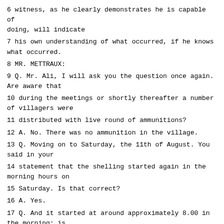6 witness, as he clearly demonstrates he is capable of doing, will indicate
7 his own understanding of what occurred, if he knows what occurred.
8 MR. METTRAUX:
9 Q. Mr. Ali, I will ask you the question once again. Are aware that
10 during the meetings or shortly thereafter a number of villagers were
11 distributed with live round of ammunitions?
12 A. No. There was no ammunition in the village.
13 Q. Moving on to Saturday, the 11th of August. You said in your
14 statement that the shelling started again in the morning hours on
15 Saturday. Is that correct?
16 A. Yes.
17 Q. And it started at around approximately 8.00 in the morning; is